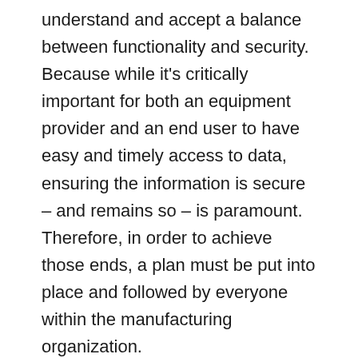understand and accept a balance between functionality and security. Because while it's critically important for both an equipment provider and an end user to have easy and timely access to data, ensuring the information is secure – and remains so – is paramount. Therefore, in order to achieve those ends, a plan must be put into place and followed by everyone within the manufacturing organization.
“And it all comes together in a systems engineering approach, said Andrew Shroll, a senior engineer at John Deere, who shared his insights on telematics and big data with attendees at this year’s Product Safety & Compliance Seminar, which annually offers safety professionals in the equipment manufacturing industry the latest in standards, regulations and industry best